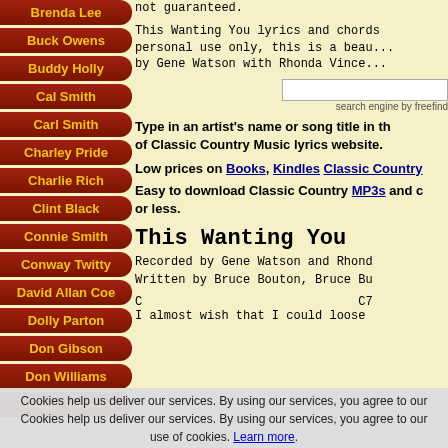Brenda Lee
Buck Owens
Buddy Holly
Cal Smith
Carl Smith
Charley Pride
Charlie Rich
Clint Black
Connie Smith
Conway Twitty
David Allan Coe
Dolly Parton
Don Gibson
Don Williams
Dwight Yoakam
not guaranteed.

This Wanting You lyrics and chords for personal use only, this is a beautiful duet by Gene Watson with Rhonda Vince...
search engine by freefind
Type in an artist's name or song title in the search box above of Classic Country Music lyrics website.
Low prices on Books, Kindles Classic Country...
Easy to download Classic Country MP3s and or less.
This Wanting You
Recorded by Gene Watson and Rhonda...
Written by Bruce Bouton, Bruce Bu...
C                              C7
I almost wish that I could loose
Cookies help us deliver our services. By using our services, you agree to our Cookies help us deliver our services. By using our services, you agree to our use of cookies. Learn more.